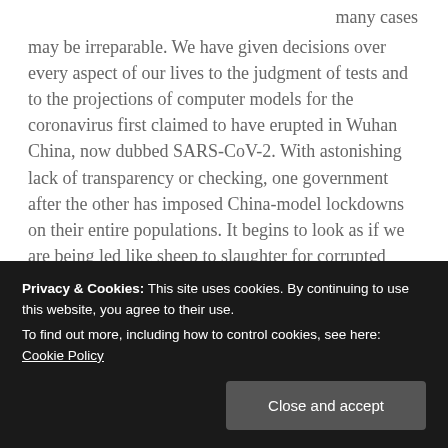many cases may be irreparable. We have given decisions over every aspect of our lives to the judgment of tests and to the projections of computer models for the coronavirus first claimed to have erupted in Wuhan China, now dubbed SARS-CoV-2. With astonishing lack of transparency or checking, one government after the other has imposed China-model lockdowns on their entire populations. It begins to look as if we are being led like sheep to slaughter for corrupted science .
Continue reading →
SHARE THIS:
Privacy & Cookies: This site uses cookies. By continuing to use this website, you agree to their use.
To find out more, including how to control cookies, see here: Cookie Policy